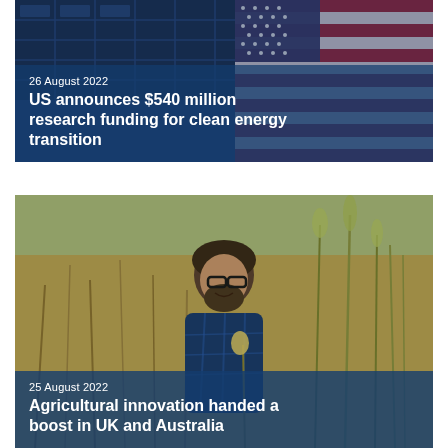[Figure (photo): Solar panels and US flag in background with blue overlay. Date: 26 August 2022. Headline: US announces $540 million research funding for clean energy transition.]
[Figure (photo): Man with beard and glasses smiling outdoors in a field of tall grasses and wildflowers. Date: 25 August 2022. Headline: Agricultural innovation handed a boost in UK and Australia.]